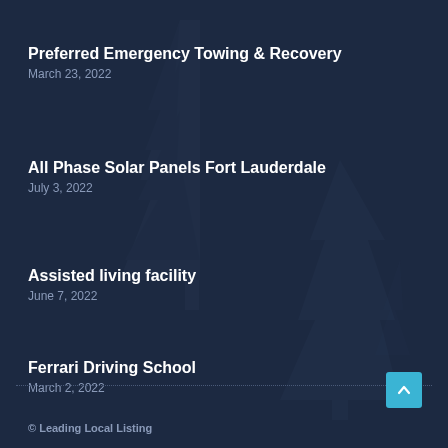Preferred Emergency Towing & Recovery
March 23, 2022
All Phase Solar Panels Fort Lauderdale
July 3, 2022
Assisted living facility
June 7, 2022
Ferrari Driving School
March 2, 2022
© Leading Local Listing